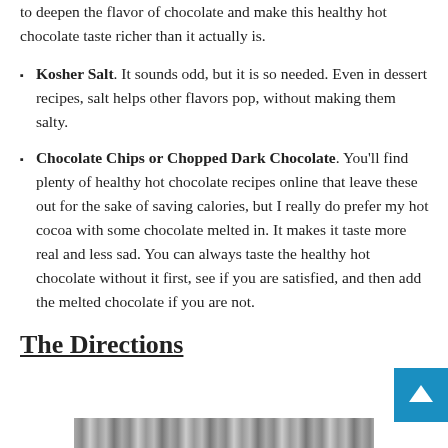to deepen the flavor of chocolate and make this healthy hot chocolate taste richer than it actually is.
Kosher Salt. It sounds odd, but it is so needed. Even in dessert recipes, salt helps other flavors pop, without making them salty.
Chocolate Chips or Chopped Dark Chocolate. You'll find plenty of healthy hot chocolate recipes online that leave these out for the sake of saving calories, but I really do prefer my hot cocoa with some chocolate melted in. It makes it taste more real and less sad. You can always taste the healthy hot chocolate without it first, see if you are satisfied, and then add the melted chocolate if you are not.
The Directions
[Figure (photo): Partial view of a photo strip at the bottom of the page showing what appears to be a cooking or food preparation scene.]